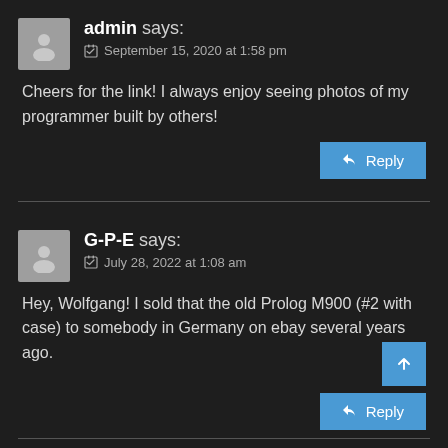admin says:
September 15, 2020 at 1:58 pm
Cheers for the link! I always enjoy seeing photos of my programmer built by others!
G-P-E says:
July 28, 2022 at 1:08 am
Hey, Wolfgang! I sold that the old Prolog M900 (#2 with case) to somebody in Germany on ebay several years ago.